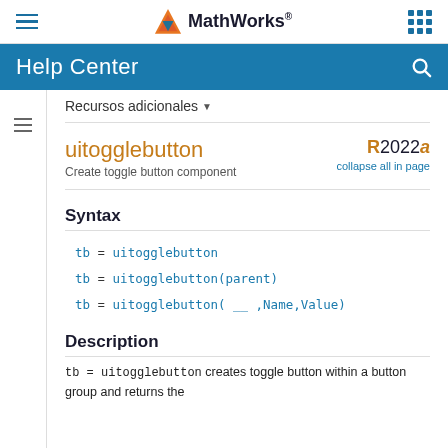MathWorks Help Center
Recursos adicionales
uitogglebutton
Create toggle button component
R2022a collapse all in page
Syntax
tb = uitogglebutton
tb = uitogglebutton(parent)
tb = uitogglebutton( __ ,Name,Value)
Description
tb = uitogglebutton creates toggle button within a button group and returns the